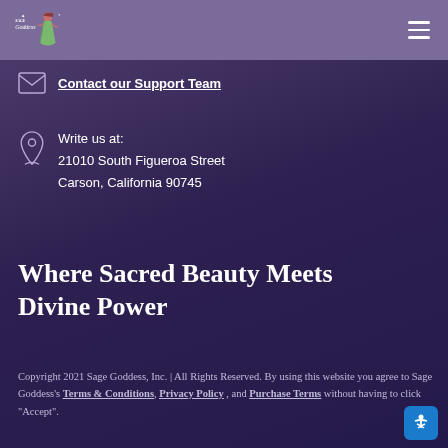[Figure (logo): Sage Goddess logo with illustrated woman in green dress and cursive text]
Contact our Support Team
Write us at:
21010 South Figueroa Street
Carson, California 90745
Where Sacred Beauty Meets Divine Power
Copyright 2021 Sage Goddess, Inc. | All Rights Reserved. By using this website you agree to Sage Goddess's Terms & Conditions, Privacy Policy , and Purchase Terms without having to click "Accept".